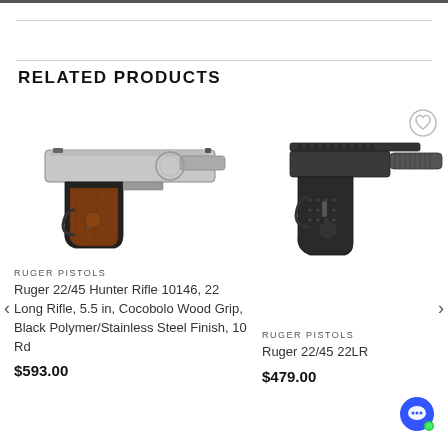RELATED PRODUCTS
[Figure (photo): Ruger 22/45 Hunter pistol with stainless steel finish and cocobolo wood grip, shown in profile]
RUGER PISTOLS
Ruger 22/45 Hunter Rifle 10146, 22 Long Rifle, 5.5 in, Cocobolo Wood Grip, Black Polymer/Stainless Steel Finish, 10 Rd
$593.00
[Figure (photo): Ruger 22/45 22LR pistol with black tactical rail and threaded barrel, shown in profile]
RUGER PISTOLS
Ruger 22/45 22LR
$479.00